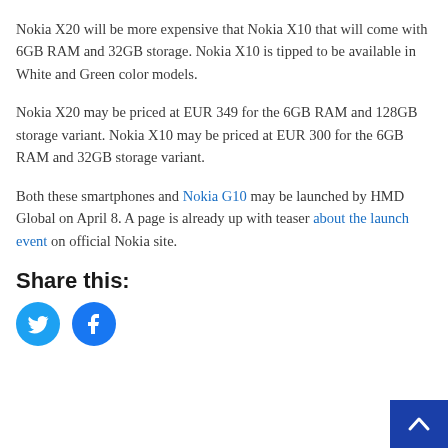Nokia X20 will be more expensive that Nokia X10 that will come with 6GB RAM and 32GB storage. Nokia X10 is tipped to be available in White and Green color models.
Nokia X20 may be priced at EUR 349 for the 6GB RAM and 128GB storage variant. Nokia X10 may be priced at EUR 300 for the 6GB RAM and 32GB storage variant.
Both these smartphones and Nokia G10 may be launched by HMD Global on April 8. A page is already up with teaser about the launch event on official Nokia site.
Share this:
[Figure (other): Twitter and Facebook social sharing icon buttons (circles with bird and f icons)]